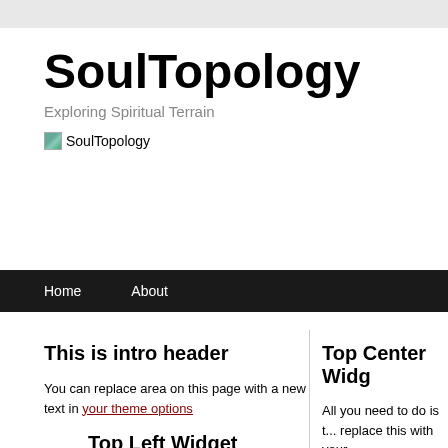SoulTopology
Exploring Spiritual Terrain
[Figure (logo): SoulTopology logo image placeholder with small green landscape thumbnail and text 'SoulTopology']
Home   About
This is intro header
You can replace area on this page with a new text in your theme options
Top Center Widg...
All you need to do is replace this with your...
Top Left Widget